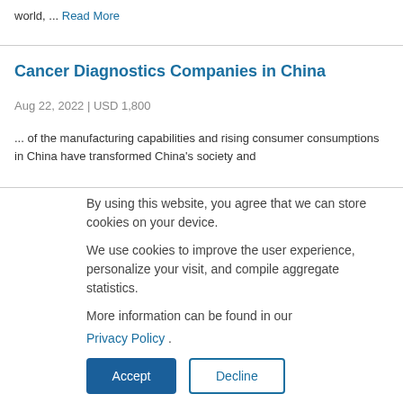world, ... Read More
Cancer Diagnostics Companies in China
Aug 22, 2022 | USD 1,800
... of the manufacturing capabilities and rising consumer consumptions in China have transformed China's society and
By using this website, you agree that we can store cookies on your device.

We use cookies to improve the user experience, personalize your visit, and compile aggregate statistics.

More information can be found in our Privacy Policy .
Accept
Decline